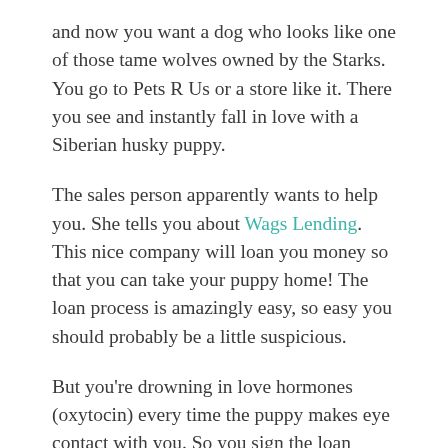and now you want a dog who looks like one of those tame wolves owned by the Starks. You go to Pets R Us or a store like it. There you see and instantly fall in love with a Siberian husky puppy.
The sales person apparently wants to help you. She tells you about Wags Lending. This nice company will loan you money so that you can take your puppy home! The loan process is amazingly easy, so easy you should probably be a little suspicious.
But you're drowning in love hormones (oxytocin) every time the puppy makes eye contact with you. So you sign the loan document over your phone, confident that you can make the monthly payments.
Over the next two years, you, not Wags Lending, will